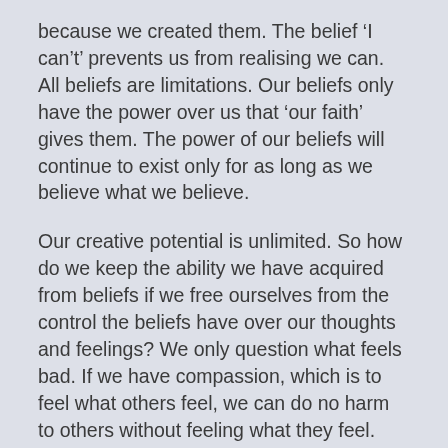because we created them. The belief ‘I can’t’ prevents us from realising we can. All beliefs are limitations. Our beliefs only have the power over us that ‘our faith’ gives them. The power of our beliefs will continue to exist only for as long as we believe what we believe.
Our creative potential is unlimited. So how do we keep the ability we have acquired from beliefs if we free ourselves from the control the beliefs have over our thoughts and feelings? We only question what feels bad. If we have compassion, which is to feel what others feel, we can do no harm to others without feeling what they feel. When our compassion is restored, we understand the meaning of KJV Luke 6.31 “And as ye would that men should do to you, do ye also to them likewise.”